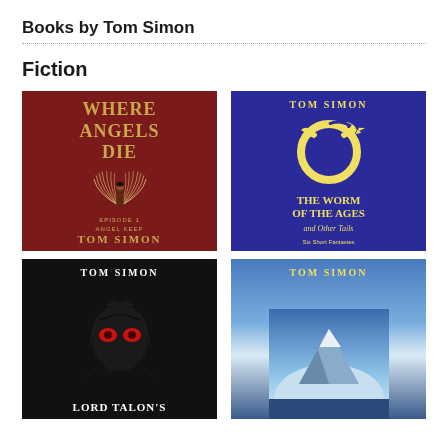Books by Tom Simon
Fiction
[Figure (illustration): Book cover: WHERE ANGELS DIE, Episode 1, Angel Keep, by Tom Simon. Dark red background with white angel wings and a figure, yellow/gold title text.]
[Figure (illustration): Book cover: THE WORM OF THE AGES and Other Tails, Six Short Fantasies, by Tom Simon. Dark blue background with yellow ouroboros dragon, yellow title text.]
[Figure (illustration): Book cover: LORD TALON'S (title partially visible), by Tom Simon. Black background with red and black mask/face illustration, white text.]
[Figure (illustration): Book cover: TOM SIMON, fourth book with blue sky and mountain background, yellow author name, partially visible title at bottom.]